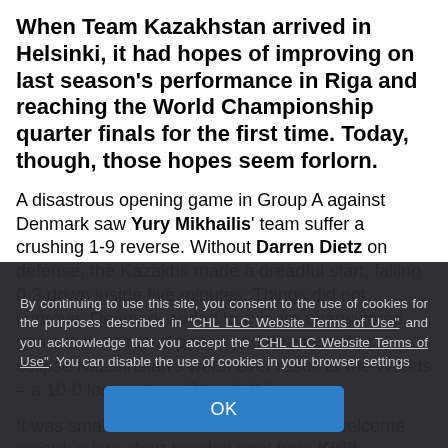When Team Kazakhstan arrived in Helsinki, it had hopes of improving on last season's performance in Riga and reaching the World Championship quarter finals for the first time. Today, though, those hopes seem forlorn.
A disastrous opening game in Group A against Denmark saw Yury Mikhailis' team suffer a crushing 1-9 reverse. Without Darren Dietz on defense, the Kazakhs made a dreadful start, falling 0-3 down inside five minutes. Things did not improve: Denmark added four more unanswered goals in the second period and threatened to eclipse Kazakhstan's worst ever result at the Worlds – a 10-0 loss to the USA in 2010.
It was small consolation to avoid that unwelcome record: a late short-handed goal from Kirill Savitsky saw the final…
By continuing to use this site, you consent to the use of cookies for the purposes described in "CHL LLC Website Terms of Use" and you acknowledge that you accept the "CHL LLC Website Terms of Use". You can disable the use of cookies in your browser settings